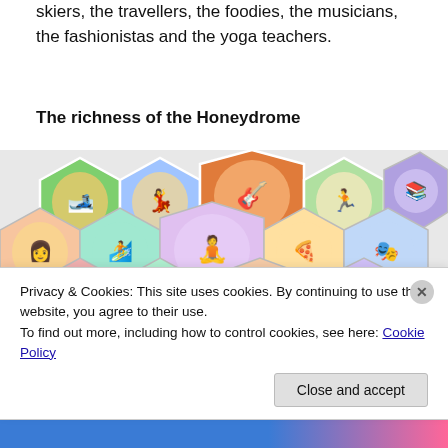skiers, the travellers, the foodies, the musicians, the fashionistas and the yoga teachers.
The richness of the Honeydrome
[Figure (illustration): A collage of hexagonal honeycomb-shaped cartoon illustrations showing various caricatures of people engaged in different activities including skiing, travelling, cooking, music, fashion, and yoga.]
Privacy & Cookies: This site uses cookies. By continuing to use this website, you agree to their use.
To find out more, including how to control cookies, see here: Cookie Policy